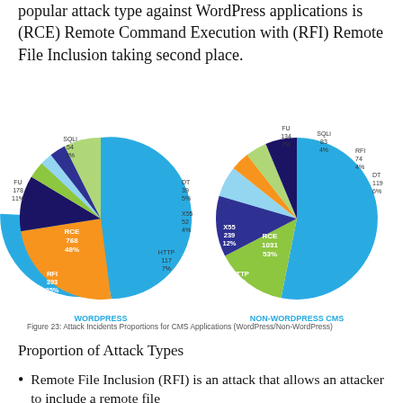popular attack type against WordPress applications is (RCE) Remote Command Execution with (RFI) Remote File Inclusion taking second place.
[Figure (pie-chart): WORDPRESS vs NON-WORDPRESS CMS]
Figure 23: Attack Incidents Proportions for CMS Applications (WordPress/Non-WordPress)
Proportion of Attack Types
Remote File Inclusion (RFI) is an attack that allows an attacker to include a remote file